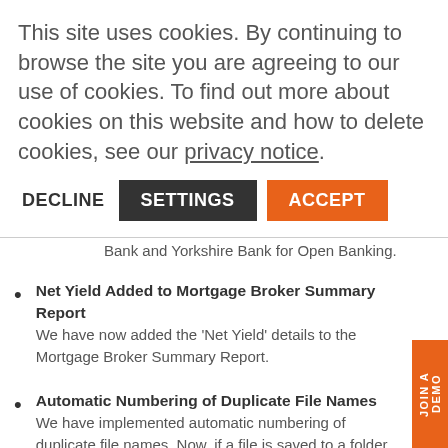This site uses cookies. By continuing to browse the site you are agreeing to our use of cookies. To find out more about cookies on this website and how to delete cookies, see our privacy notice.
DECLINE  SETTINGS  ACCEPT
integrated with Virgin Money, Clydesdale Bank and Yorkshire Bank for Open Banking.
Net Yield Added to Mortgage Broker Summary Report
We have now added the 'Net Yield' details to the Mortgage Broker Summary Report.
Automatic Numbering of Duplicate File Names
We have implemented automatic numbering of duplicate file names. Now, if a file is saved to a folder